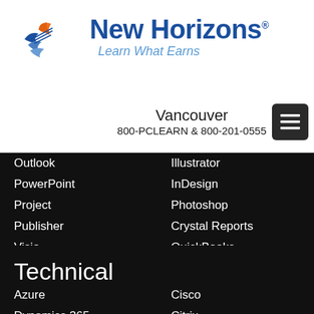[Figure (logo): New Horizons logo with wing-like graphic and text 'New Horizons Learn What Earns']
Vancouver
800-PCLEARN  & 800-201-0555
Outlook
Illustrator
PowerPoint
InDesign
Project
Photoshop
Publisher
Crystal Reports
Visio
QuickBooks
Word
Technical
Azure
Cisco
Dynamics 365
Citrix